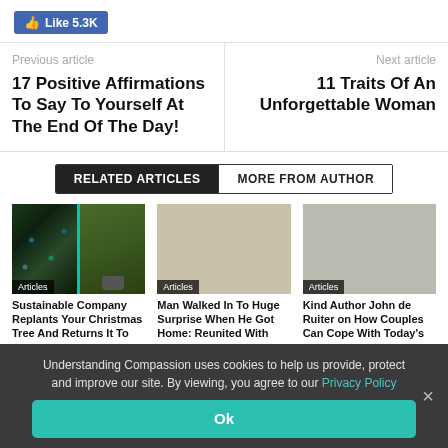[Figure (other): Facebook Like button showing 5.3K likes]
Previous article
17 Positive Affirmations To Say To Yourself At The End Of The Day!
Next article
11 Traits Of An Unforgettable Woman
RELATED ARTICLES | MORE FROM AUTHOR
[Figure (photo): Christmas tree split image - decorated lit tree on left, potted green tree on right with teal divider]
[Figure (photo): Article image placeholder for Man Walked In To Huge Surprise]
[Figure (photo): Article image placeholder for Kind Author John de Ruiter]
Sustainable Company Replants Your Christmas Tree And Returns It To
Man Walked In To Huge Surprise When He Got Home: Reunited With
Kind Author John de Ruiter on How Couples Can Cope With Today's
Understanding Compassion uses cookies to help us provide, protect and improve our site. By viewing, you agree to our Privacy Policy